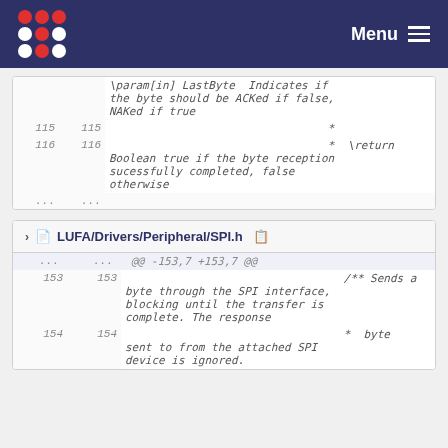Menu
| old | new | code |
| --- | --- | --- |
|  |  | \param[in] LastByte  Indicates if the byte should be ACKed if false, NAKed if true |
| 115 | 115 | * |
| 116 | 116 | *  \return Boolean true if the byte reception sucessfully completed, false otherwise |
| ... | ... |  |
LUFA/Drivers/Peripheral/SPI.h
| old | new | code |
| --- | --- | --- |
| ... | ... | @@ -153,7 +153,7 @@ |
| 153 | 153 | /** Sends a byte through the SPI interface, blocking until the transfer is complete. The response |
| 154 | 154 | *  byte sent to from the attached SPI device is ignored. |